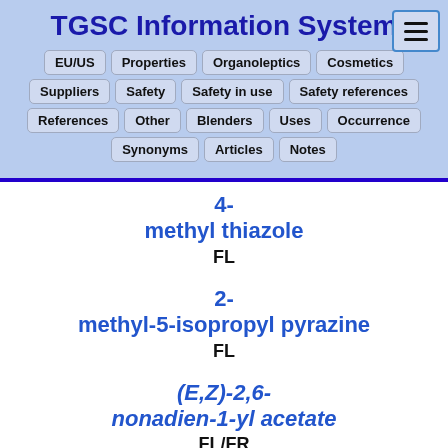TGSC Information System
EU/US  Properties  Organoleptics  Cosmetics
Suppliers  Safety  Safety in use  Safety references
References  Other  Blenders  Uses  Occurrence
Synonyms  Articles  Notes
4-methyl thiazole
FL
2-methyl-5-isopropyl pyrazine
FL
(E,Z)-2,6-nonadien-1-yl acetate
FL/FR